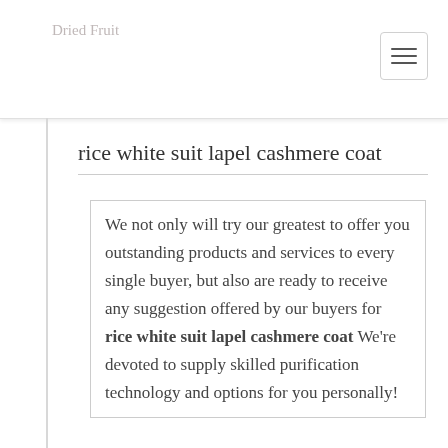Dried Fruit
rice white suit lapel cashmere coat
We not only will try our greatest to offer you outstanding products and services to every single buyer, but also are ready to receive any suggestion offered by our buyers for rice white suit lapel cashmere coat We're devoted to supply skilled purification technology and options for you personally!